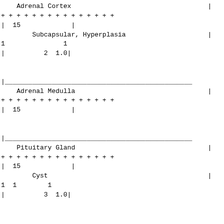| Adrenal Cortex |  |  |  |
| + + + + + + + + + + + + + + + |  |  |  |
| | 15          | |  |  |  |
| Subcapsular, Hyperplasia |  |  |  |
| 1 | 1 |  |  |
| | | 2  1.0| |  |  |
| | |  |  |  |
| Adrenal Medulla |  |  |  |
| + + + + + + + + + + + + + + + |  |  |  |
| | 15          | |  |  |  |
| | |  |  |  |
| Pituitary Gland |  |  |  |
| + + + + + + + + + + + + + + + |  |  |  |
| | 15          | |  |  |  |
| Cyst |  |  |  |
| 1  1 | 1 |  |  |
| | | 3  1.0| |  |  |